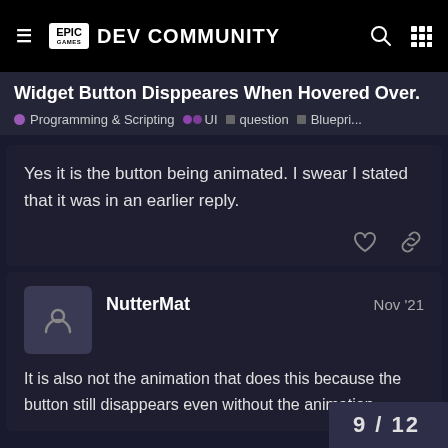Epic Games DEV COMMUNITY
Widget Button Disppeares When Hovered Over.
● Programming & Scripting  ●● UI  ■ question  ■ Bluepri...
Yes it is the button being animated. I swear I stated that it was in an earlier reply.
NutterMat  Nov '21
It is also not the animation that does this because the button still disappears even without the animation.
9 / 12